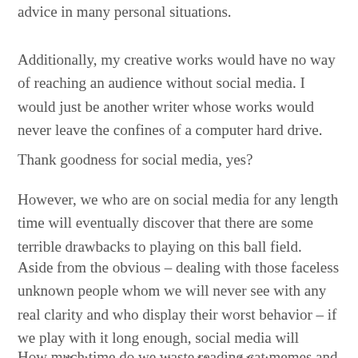advice in many personal situations.
Additionally, my creative works would have no way of reaching an audience without social media. I would just be another writer whose works would never leave the confines of a computer hard drive.
Thank goodness for social media, yes?
However, we who are on social media for any length time will eventually discover that there are some terrible drawbacks to playing on this ball field.
Aside from the obvious – dealing with those faceless unknown people whom we will never see with any real clarity and who display their worst behavior – if we play with it long enough, social media will eventually become a soul-sucking addiction.
How much time do we waste reading cat memes and